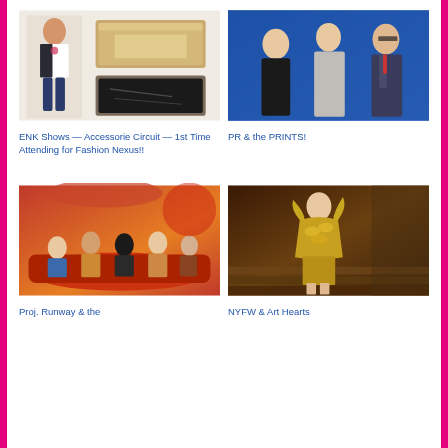[Figure (photo): Fashion photo: woman in white top and dark pants with accessories, plus wooden jewelry boxes]
ENK Shows — Accessorie Circuit — 1st Time Attending for Fashion Nexus!!
[Figure (photo): Three people on a blue stage: two women and a man in a suit]
PR & the PRINTS!
[Figure (photo): Group of people riding a magic carpet ride attraction]
Proj. Runway & the
[Figure (photo): Model in gold metallic costume on stairs]
NYFW & Art Hearts